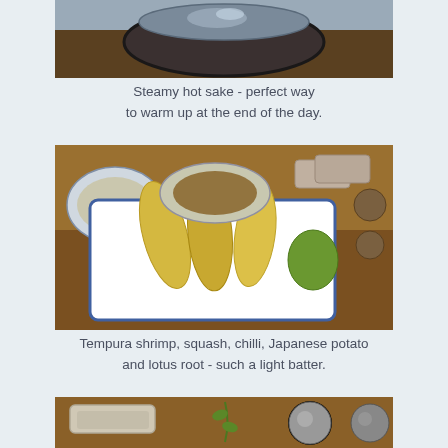[Figure (photo): Photo of steamy hot sake served in a dark ceramic bowl on a wooden table, viewed from above. A glass of water visible in the background.]
Steamy hot sake - perfect way to warm up at the end of the day.
[Figure (photo): Photo of tempura shrimp, squash, chilli, Japanese potato and lotus root on a blue and white rectangular tray, with a dipping sauce bowl, served on a wooden table.]
Tempura shrimp, squash, chilli, Japanese potato and lotus root - such a light batter.
[Figure (photo): Partial photo showing the top portion of another dish or table setting, with plates, metal cups/cylinders and a green garnish on a wooden table surface.]